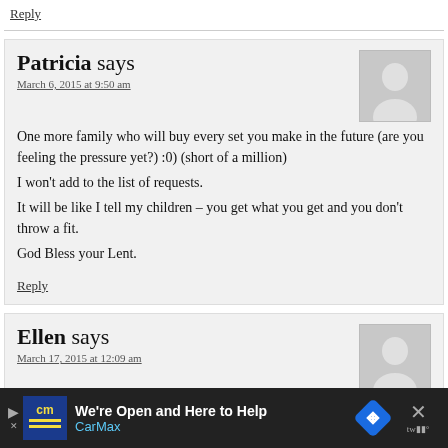Reply
Patricia says
March 6, 2015 at 9:50 am
One more family who will buy every set you make in the future (are you feeling the pressure yet?) :0) (short of a million)
I won't add to the list of requests.
It will be like I tell my children – you get what you get and you don't throw a fit.
God Bless your Lent.
Reply
Ellen says
March 17, 2015 at 12:09 am
[Figure (screenshot): CarMax advertisement banner: 'We're Open and Here to Help' with CarMax logo and navigation arrow icon on dark background]